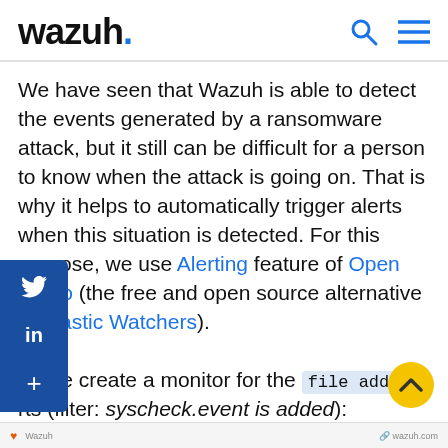wazuh.
We have seen that Wazuh is able to detect the events generated by a ransomware attack, but it still can be difficult for a person to know when the attack is going on. That is why it helps to automatically trigger alerts when this situation is detected. For this purpose, we use the Alerting feature of Open Distro (the free and open source alternative to Elastic Watchers). First, we create a monitor for the file added alerts (filter: syscheck.event is added):